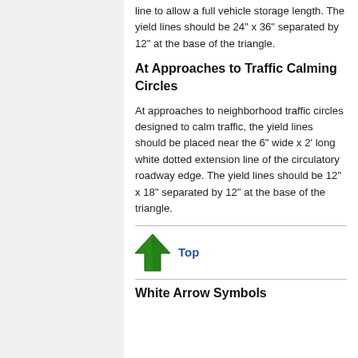line to allow a full vehicle storage length. The yield lines should be 24" x 36" separated by 12" at the base of the triangle.
At Approaches to Traffic Calming Circles
At approaches to neighborhood traffic circles designed to calm traffic, the yield lines should be placed near the 6" wide x 2' long white dotted extension line of the circulatory roadway edge. The yield lines should be 12" x 18" separated by 12" at the base of the triangle.
[Figure (illustration): Green upward arrow icon with tree texture, linking to Top of page]
Top
White Arrow Symbols